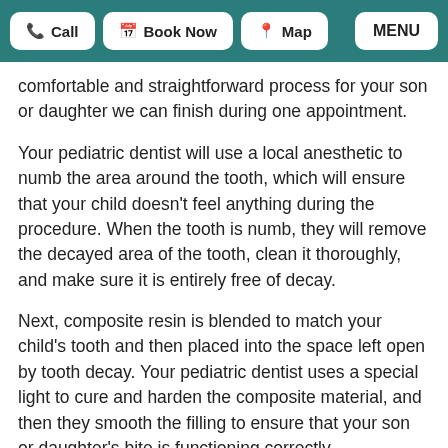Call | Book Now | Map | MENU
comfortable and straightforward process for your son or daughter we can finish during one appointment.
Your pediatric dentist will use a local anesthetic to numb the area around the tooth, which will ensure that your child doesn't feel anything during the procedure. When the tooth is numb, they will remove the decayed area of the tooth, clean it thoroughly, and make sure it is entirely free of decay.
Next, composite resin is blended to match your child's tooth and then placed into the space left open by tooth decay. Your pediatric dentist uses a special light to cure and harden the composite material, and then they smooth the filling to ensure that your son or daughter's bite is functioning correctly.